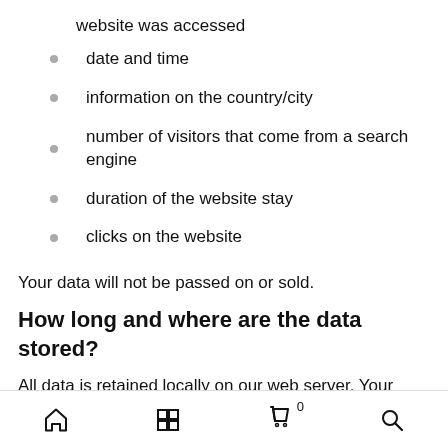website was accessed
date and time
information on the country/city
number of visitors that come from a search engine
duration of the website stay
clicks on the website
Your data will not be passed on or sold.
How long and where are the data stored?
All data is retained locally on our web server. Your data will be stored on our web server until it is no longer needed for the